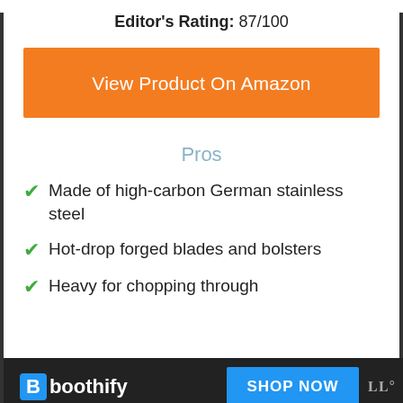Editor's Rating: 87/100
View Product On Amazon
Pros
Made of high-carbon German stainless steel
Hot-drop forged blades and bolsters
Heavy for chopping through
Boothify  SHOP NOW